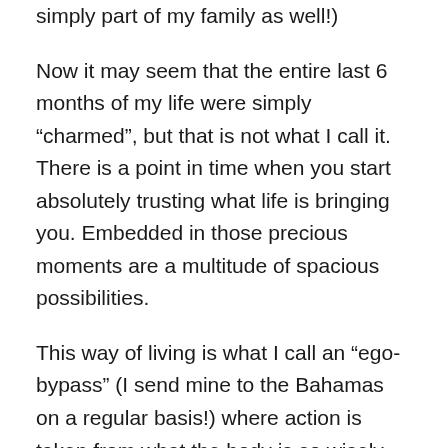simply part of my family as well!)
Now it may seem that the entire last 6 months of my life were simply “charmed”, but that is not what I call it.  There is a point in time when you start absolutely trusting what life is bringing you. Embedded in those precious moments are a multitude of spacious possibilities.
This way of living is what I call an “ego-bypass” (I send mine to the Bahamas on a regular basis!) where action is taken from what the body is so wisely informing.  In other words, it is an “inside job” dear ones.
No amount of affirmations or intentions, spiritual practices or bending over backwards will take the place of this unfailing trust that comes from a deeply embodied spaciousness inside – a deep listening to what the body is